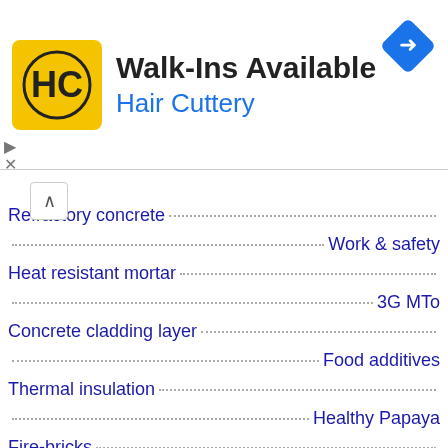[Figure (other): Hair Cuttery advertisement banner with yellow logo, text 'Walk-Ins Available' and 'Hair Cuttery', and a blue navigation arrow icon]
Refractory concrete
Work & safety
Heat resistant mortar
3G MTo
Concrete cladding layer
Food additives
Thermal insulation
Healthy Papaya
Fire-bricks
L-lysine & food
Fire-clay